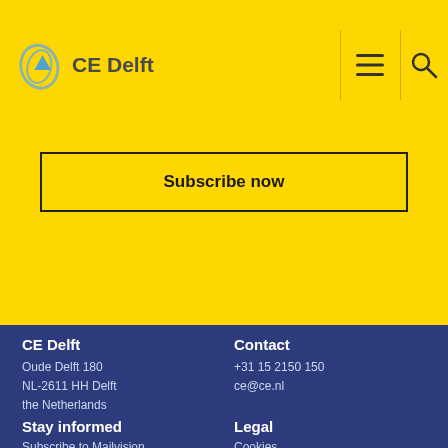[Figure (logo): CE Delft logo with stylized leaf/arrow icon]
Subscribe now
CE Delft
Oude Delft 180
NL-2611 HH Delft
the Netherlands
Contact
+31 15 2150 150
ce@ce.nl
Stay informed
Subscribe to Mailvision
Subscribe to report updates
Legal
Cookies
Terms & conditions